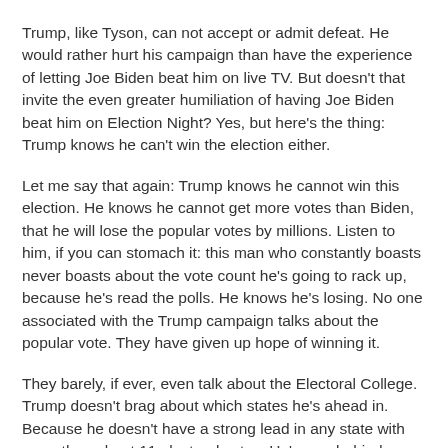Trump, like Tyson, can not accept or admit defeat. He would rather hurt his campaign than have the experience of letting Joe Biden beat him on live TV. But doesn't that invite the even greater humiliation of having Joe Biden beat him on Election Night? Yes, but here's the thing: Trump knows he can't win the election either.
Let me say that again: Trump knows he cannot win this election. He knows he cannot get more votes than Biden, that he will lose the popular votes by millions. Listen to him, if you can stomach it: this man who constantly boasts never boasts about the vote count he's going to rack up, because he's read the polls. He knows he's losing. No one associated with the Trump campaign talks about the popular vote. They have given up hope of winning it.
They barely, if ever, even talk about the Electoral College. Trump doesn't brag about which states he's ahead in. Because he doesn't have a strong lead in any state with more than about 11 electoral votes. He's way behind, playing defense on most of his map. He's going to have to defend Georgia and Texas.